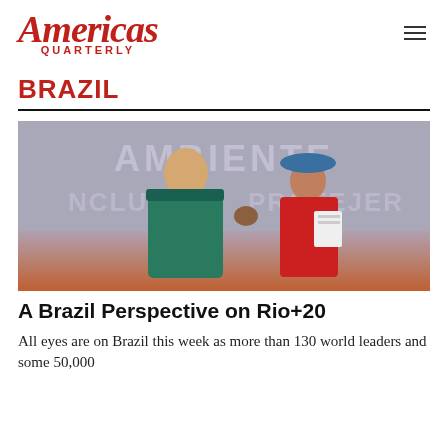Americas Quarterly
BRAZIL
[Figure (photo): Two women at a Rio+20 conference event, standing in front of a banner reading 'AMBIENTE' and 'NCLUIR PROTEGER'. One woman in a teal jacket is receiving or handing a small object to another woman in a red dress wearing a blue hat and holding documents.]
A Brazil Perspective on Rio+20
All eyes are on Brazil this week as more than 130 world leaders and some 50,000